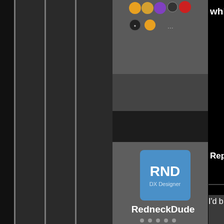[Figure (screenshot): Forum user profile card for RedneckDude, a Moderator with DX Designer avatar, join date 04/2009, +1982 reputation, showing badge icons. Left side shows dark vertical sidebar bars. Partial text 'whis', 'Reply', and 'I'd be' visible on right. Bottom shows partial 'FALLEN' banner.]
RedneckDude
Join Date 04/2009
+1982
Moderator